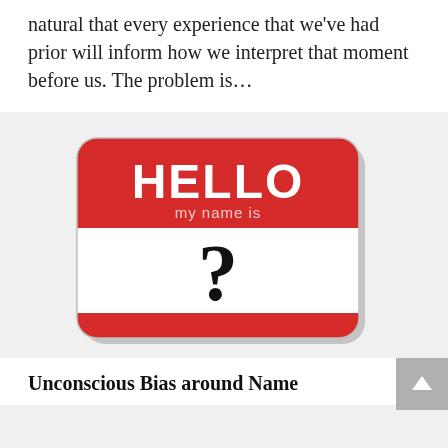natural that every experience that we've had prior will inform how we interpret that moment before us. The problem is…
[Figure (illustration): A red 'Hello my name is' name tag sticker with a large question mark in the name field instead of a name.]
Unconscious Bias around Name